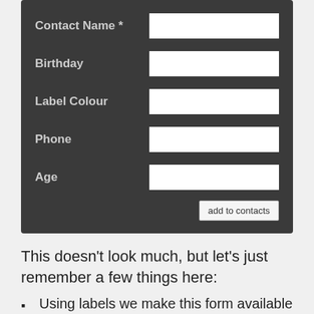[Figure (screenshot): A web form on a dark background with five labeled fields: Contact Name (required, marked with asterisk), Birthday, Label Colour, Phone, Age — each paired with a white input box — and an 'add to contacts' button at the bottom right.]
This doesn't look much, but let's just remember a few things here:
Using labels we make this form available to all kind of users independent of ability
You create a larger hit target for mobile — Applying a button with a label next to it